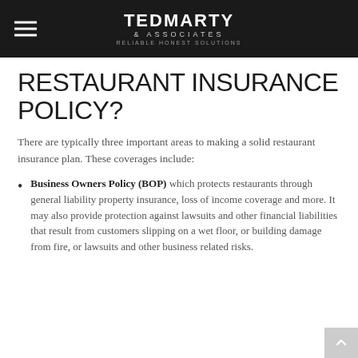TED MARTY & ASSOCIATES — RELIABLE HONEST SOLUTIONS
RESTAURANT INSURANCE POLICY?
There are typically three important areas to making a solid restaurant insurance plan. These coverages include:
Business Owners Policy (BOP) which protects restaurants through general liability property insurance, loss of income coverage and more. It may also provide protection against lawsuits and other financial liabilities that result from customers slipping on a wet floor, or building damage from fire, or lawsuits and other business related risks.